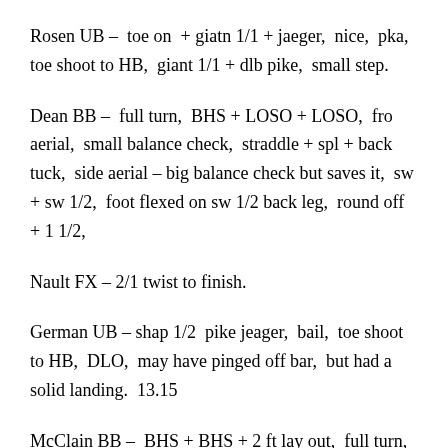Rosen UB – toe on + giatn 1/1 + jaeger, nice, pka, toe shoot to HB, giant 1/1 + dlb pike, small step.
Dean BB – full turn, BHS + LOSO + LOSO, fro aerial, small balance check, straddle + spl + back tuck, side aerial – big balance check but saves it, sw + sw 1/2, foot flexed on sw 1/2 back leg, round off + 1 1/2,
Nault FX – 2/1 twist to finish.
German UB – shap 1/2 pike jeager, bail, toe shoot to HB, DLO, may have pinged off bar, but had a solid landing. 13.15
McClain BB – BHS + BHS + 2 ft lay out, full turn, tuck full, solid, spl + wolf jump side aerial, sw + sw 1/2, back tuck from side, sissone, small check, connection dd bt dl